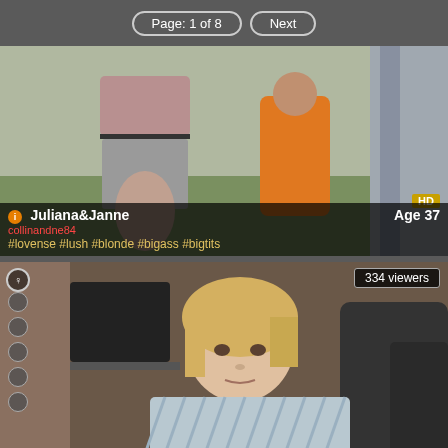Page: 1 of 8  Next
[Figure (screenshot): Webcam stream thumbnail showing two women outdoors, one in grey shorts and black top viewed from behind, another in orange dress. HD badge visible. Overlay shows username Juliana&Janne, age 37, tags #lovense #lush #blonde #bigass #bigtits]
[Figure (screenshot): Webcam stream thumbnail showing a blonde woman in a striped shirt seated in a leather chair indoors. Shows 334 viewers badge and female gender icon with side navigation icons.]